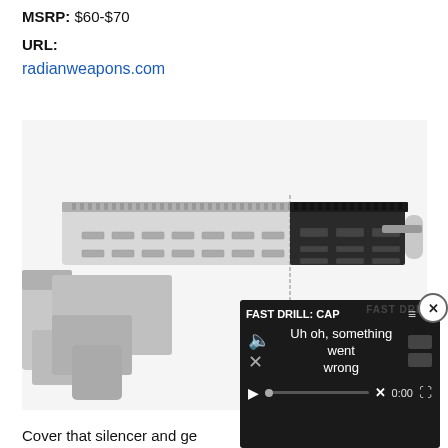MSRP: $60-$70
URL:
radianweapons.com
[Figure (photo): Product photo of a firearm handguard/rail system shown in a split comparison: left half shows a light/silver finish and right half shows a dark anodized black finish. The rail is mounted on an AR-style firearm lower assembly.]
[Figure (screenshot): Video player overlay showing error message 'FAST DRILL: CAP' with 'Uh oh, something went wrong' text, mute icon, progress bar, X symbol, time 0:00, and fullscreen icon on dark background.]
Cover that silencer and ge